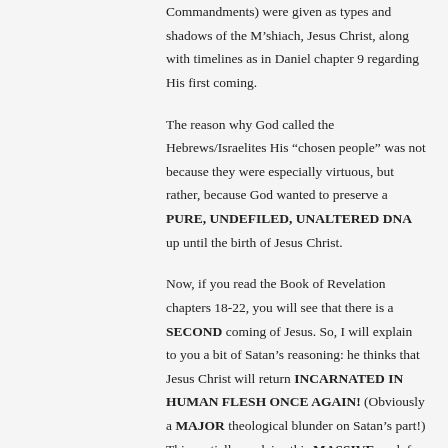Commandments) were given as types and shadows of the M’shiach, Jesus Christ, along with timelines as in Daniel chapter 9 regarding His first coming.
The reason why God called the Hebrews/Israelites His “chosen people” was not because they were especially virtuous, but rather, because God wanted to preserve a PURE, UNDEFILED, UNALTERED DNA up until the birth of Jesus Christ.
Now, if you read the Book of Revelation chapters 18-22, you will see that there is a SECOND coming of Jesus. So, I will explain to you a bit of Satan’s reasoning: he thinks that Jesus Christ will return INCARNATED IN HUMAN FLESH ONCE AGAIN! (Obviously a MAJOR theological blunder on Satan’s part!) This partially explains this MASSIVE push for altering the human